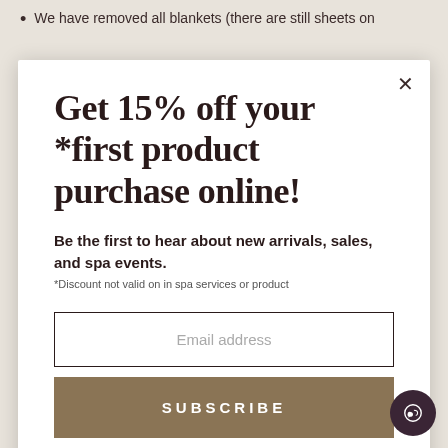We have removed all blankets (there are still sheets on
Get 15% off your *first product purchase online!
Be the first to hear about new arrivals, sales, and spa events.
*Discount not valid on in spa services or product
Email address
SUBSCRIBE